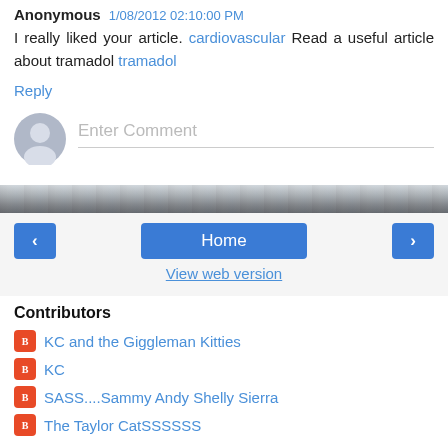Anonymous 1/08/2012 02:10:00 PM
I really liked your article. cardiovascular Read a useful article about tramadol tramadol
Reply
[Figure (other): Avatar placeholder circle icon for comment input]
Enter Comment
[Figure (photo): Decorative landscape divider band image]
< Home >
View web version
Contributors
KC and the Giggleman Kitties
KC
SASS....Sammy Andy Shelly Sierra
The Taylor CatSSSSSS